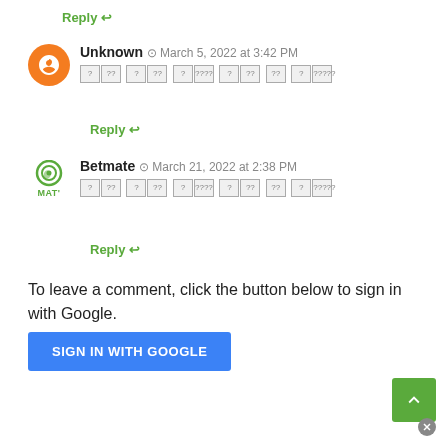Reply ↩
Unknown  March 5, 2022 at 3:42 PM — [tofu text]
Reply ↩
Betmate  March 21, 2022 at 2:38 PM — [tofu text]
Reply ↩
To leave a comment, click the button below to sign in with Google.
SIGN IN WITH GOOGLE